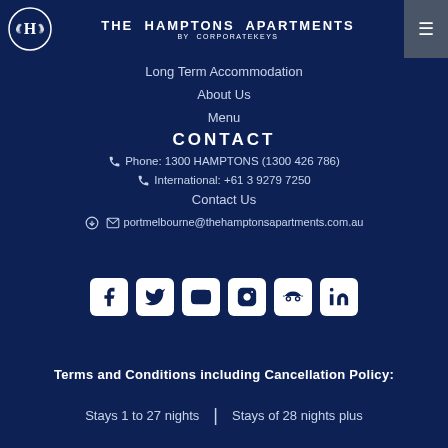THE HAMPTONS APARTMENTS by CORPORATEKEYS
Long Term Accommodation
About Us
CONTACT
Phone: 1300 HAMPTONS (1300 426 786)
International: +61 3 9279 7250
Menu
Contact Us
portmelbourne@thehamptonsapartments.com.au
[Figure (infographic): Social media icons row: Facebook, Twitter, YouTube, Instagram, TripAdvisor, LinkedIn]
Terms and Conditions including Cancellation Policy:
Stays 1 to 27 nights | Stays of 28 nights plus